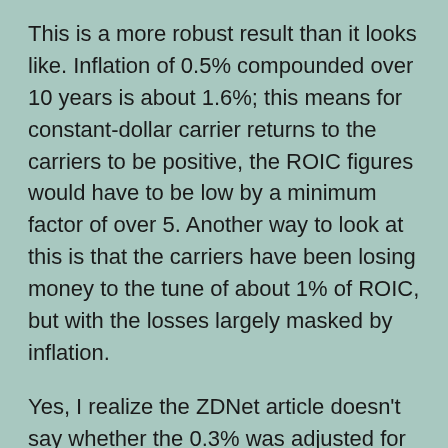This is a more robust result than it looks like. Inflation of 0.5% compounded over 10 years is about 1.6%; this means for constant-dollar carrier returns to the carriers to be positive, the ROIC figures would have to be low by a minimum factor of over 5. Another way to look at this is that the carriers have been losing money to the tune of about 1% of ROIC, but with the losses largely masked by inflation.
Yes, I realize the ZDNet article doesn't say whether the 0.3% was adjusted for inflation; it might have been. But an optimistic assumption about that turns out not to get the carriers out